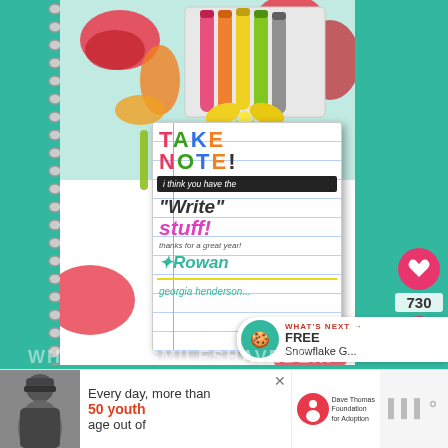[Figure (photo): Photo of a spiral notebook with colorful floral pattern cover, a bundle of colored pens/markers tied with a yellow ribbon, and a gift tag card reading 'TAKE NOTE! I think you have the Write stuff! thanks for a great year! Rowan' with georgia henderson text at bottom. Set against a teal/mint green background. Has social overlay with heart icon and number 730, share button, and a 'WHAT'S NEXT → FREE Snowflake G...' banner. Watermark text at bottom reads 'WHERETHESMILESHAVEBE...']
[Figure (photo): Black and white photo of a person (man with beanie hat). Part of an advertisement banner at the bottom of the page.]
Every day, more than 50 youth age out of